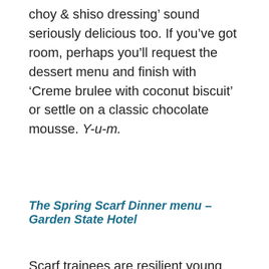choy & shiso dressing' sound seriously delicious too. If you've got room, perhaps you'll request the dessert menu and finish with 'Creme brulee with coconut biscuit' or settle on a classic chocolate mousse. Y-u-m.
The Spring Scarf Dinner menu – Garden State Hotel
Scarf trainees are resilient young people seeking protection and those from refugee and migrant backgrounds who've faced barriers to